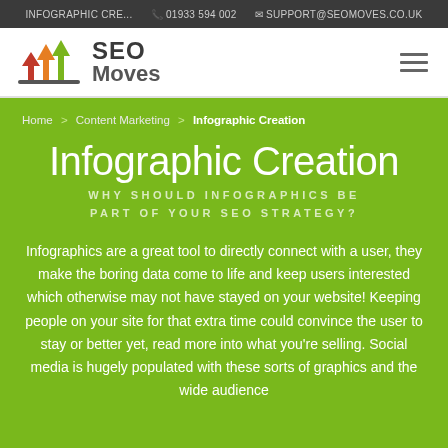INFOGRAPHIC CRE...  📞 01933 594 002  ✉ SUPPORT@SEOMOVES.CO.UK
[Figure (logo): SEO Moves logo with three upward arrows in red, orange, and green, followed by the text 'SEO Moves']
Home > Content Marketing > Infographic Creation
Infographic Creation
WHY SHOULD INFOGRAPHICS BE PART OF YOUR SEO STRATEGY?
Infographics are a great tool to directly connect with a user, they make the boring data come to life and keep users interested which otherwise may not have stayed on your website! Keeping people on your site for that extra time could convince the user to stay or better yet, read more into what you're selling. Social media is hugely populated with these sorts of graphics and the wide audience